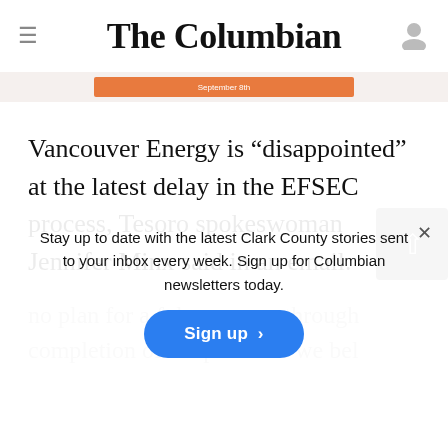The Columbian
[Figure (other): Orange promotional ad banner with 'September 8th' text]
Vancouver Energy is “disappointed” at the latest delay in the EFSEC process, Tesoro spokeswoman Jennifer Minx said in an email.
Stay up to date with the latest Clark County stories sent to your inbox every week. Sign up for Columbian newsletters today.
no plan for a full ... through completion of the p... as we bel...